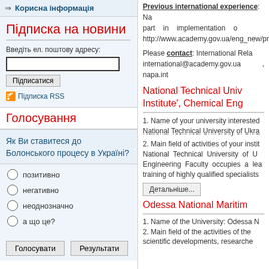Корисна інформація
Підписка на новини
Введіть ел. поштову адресу:
Підписатися
Підписка RSS
Голосування
Як Ви ставитеся до Болонського процесу в Україні?
позитивно
негативно
неоднозначно
а що це?
Голосувати   Результати
Previous international experience: Na part in implementation o http://www.academy.gov.ua/eng_new/pr
Please contact: International Rela international@academy.gov.ua , napa.int
National Technical Univ Institute', Chemical Eng
1. Name of your university interested
National Technical University of Ukra
2. Main field of activities of your instit
National Technical University of U Engineering Faculty occupies a lea training of highly qualified specialists
Детальніше...
Odessa National Maritim
1. Name of the University: Odessa N
2. Main field of the activities of the scientific developments, researche